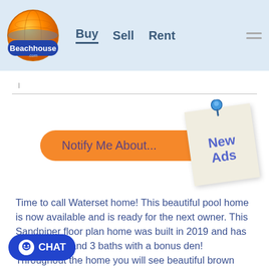[Figure (logo): Beachhouse.com logo — orange globe with Beachhouse text]
Buy   Sell   Rent
[Figure (infographic): Orange rounded button saying 'Notify Me About...' with a sticky note pinned on top reading 'New Ads']
Time to call Waterset home! This beautiful pool home is now available and is ready for the next owner. This Sandpiper floor plan home was built in 2019 and has 3 bedrooms and 3 baths with a bonus den! Throughout the home you will see beautiful brown wood ceramic tile, Light stone tops, and beautiful fixtures that pull the entire aesthetic of the home together. In the
[Figure (other): Blue circular chat button with smiley face icon and text CHAT]